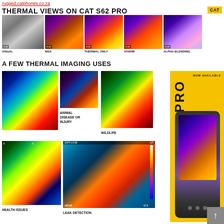rugged.catphones.co.za
THERMAL VIEWS ON CAT S62 PRO
[Figure (infographic): Five thermal imaging views side by side: VISUAL (grayscale engine image), MSX (purple/orange thermal overlay), THERMAL ONLY (orange/yellow thermal), VIVIDIR (purple/red/orange), ALPHA BLENDING (purple/pink/blue). Each labeled below.]
VISUAL    MSX    THERMAL ONLY    VIVIDIR    ALPHA BLENDING
A FEW THERMAL IMAGING USES
[Figure (photo): Thermal image of a foot/paw on blue background showing heat distribution in red/orange/yellow.]
[Figure (photo): Thermal image showing animal hoof/foot with color thermal overlay against dark background.]
ANIMAL DISEASE OR INJURY
[Figure (photo): Thermal image of a wild bird (possibly a macaw) showing heat in green/yellow/red/orange tones.]
WILDLIFE
[Figure (infographic): CAT S62 Pro phone advertisement panel on yellow background with phone image and thermal screen display. Text says NOW AVAILABLE S62 PRO.]
[Figure (photo): Two thermal images of human feet soles (labeled A and B) showing heat distribution in green/yellow/orange/red on dark background.]
HEALTH ISSUES
[Figure (photo): Thermal image of pipe/mechanical leak detection showing 119°F temperature reading, heat zones in orange/red on blue/teal background. FLIR watermark. Temperature range 67.8 to 125.]
LEAK DETECTION